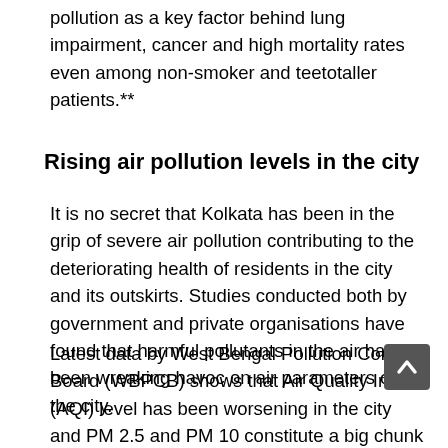pollution as a key factor behind lung impairment, cancer and high mortality rates even among non-smoker and teetotaller patients.**
Rising air pollution levels in the city
It is no secret that Kolkata has been in the grip of severe air pollution contributing to the deteriorating health of residents in the city and its outskirts. Studies conducted both by government and private organisations have found that harmful pollutants in the air have been wreaking havoc on air parameters of the city.
Latest data by West Bengal Pollution Control Board (WBPCB) shows that Air Quality Index (AQI) level has been worsening in the city and PM 2.5 and PM 10 constitute a big chunk of harmful pollutants in the air. PM 2.5 is particularly dangerous as the smaller particles